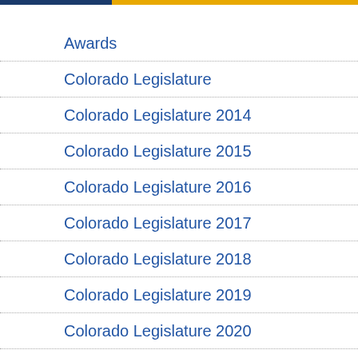Awards
Colorado Legislature
Colorado Legislature 2014
Colorado Legislature 2015
Colorado Legislature 2016
Colorado Legislature 2017
Colorado Legislature 2018
Colorado Legislature 2019
Colorado Legislature 2020